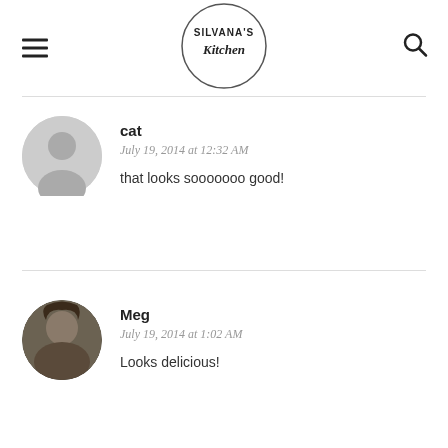[Figure (logo): Silvana's Kitchen circular logo with text]
cat
July 19, 2014 at 12:32 AM
that looks sooooooo good!
Meg
July 19, 2014 at 1:02 AM
Looks delicious!